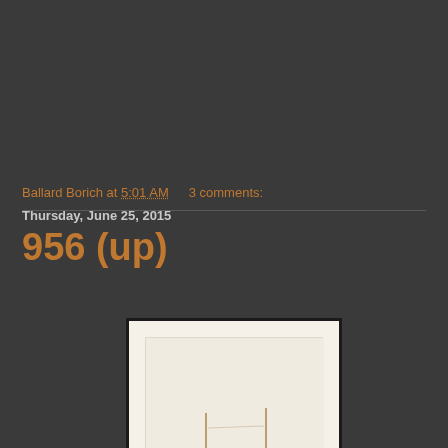Ballard Borich at 5:01 AM   3 comments:
Thursday, June 25, 2015
956 (up)
[Figure (photo): A framed artwork or document image with a cream/off-white background and thin vertical lines or marks visible at the bottom, shown partially cropped]